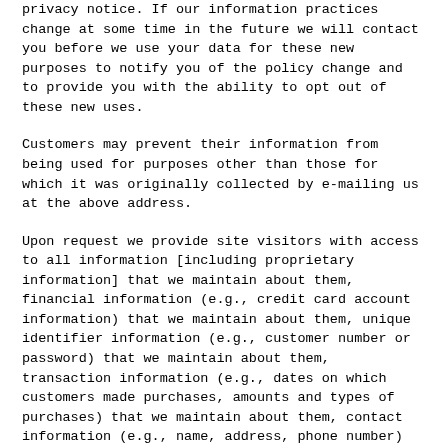privacy notice. If our information practices change at some time in the future we will contact you before we use your data for these new purposes to notify you of the policy change and to provide you with the ability to opt out of these new uses.
Customers may prevent their information from being used for purposes other than those for which it was originally collected by e-mailing us at the above address.
Upon request we provide site visitors with access to all information [including proprietary information] that we maintain about them, financial information (e.g., credit card account information) that we maintain about them, unique identifier information (e.g., customer number or password) that we maintain about them, transaction information (e.g., dates on which customers made purchases, amounts and types of purchases) that we maintain about them, contact information (e.g., name, address, phone number) that we maintain about them .
Consumers can access this information by visiting us at http://store.tomsachs.org
Upon request we offer visitors the ability to have inaccuracies corrected in contact information, financial